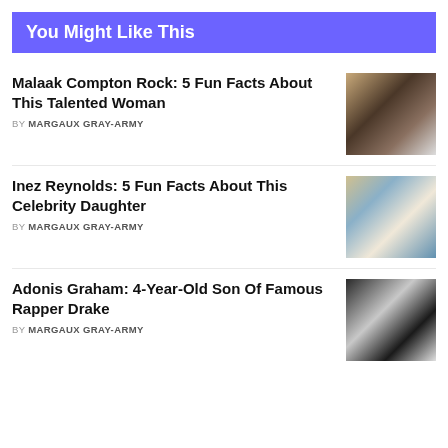You Might Like This
Malaak Compton Rock: 5 Fun Facts About This Talented Woman
BY MARGAUX GRAY-ARMY
[Figure (photo): Photo of Malaak Compton Rock at an event]
Inez Reynolds: 5 Fun Facts About This Celebrity Daughter
BY MARGAUX GRAY-ARMY
[Figure (photo): Photo of Inez Reynolds, a young girl with curly blonde hair]
Adonis Graham: 4-Year-Old Son Of Famous Rapper Drake
BY MARGAUX GRAY-ARMY
[Figure (photo): Photo of Adonis Graham with Drake and a woman]